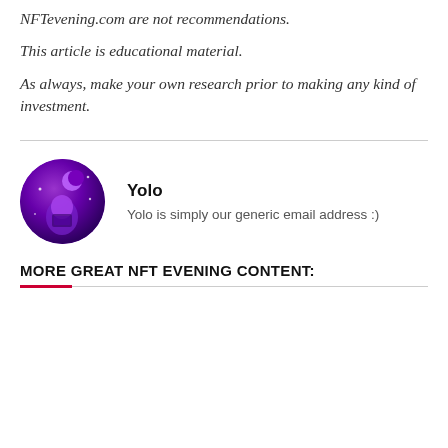NFTevening.com are not recommendations.
This article is educational material.
As always, make your own research prior to making any kind of investment.
[Figure (photo): Circular avatar image of Yolo author with purple/violet space-themed illustration]
Yolo
Yolo is simply our generic email address :)
MORE GREAT NFT EVENING CONTENT: